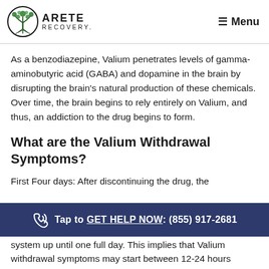ARETE RECOVERY | Menu
As a benzodiazepine, Valium penetrates levels of gamma-aminobutyric acid (GABA) and dopamine in the brain by disrupting the brain’s natural production of these chemicals. Over time, the brain begins to rely entirely on Valium, and thus, an addiction to the drug begins to form.
What are the Valium Withdrawal Symptoms?
First Four days: After discontinuing the drug, the
system up until one full day. This implies that Valium withdrawal symptoms may start between 12-24 hours